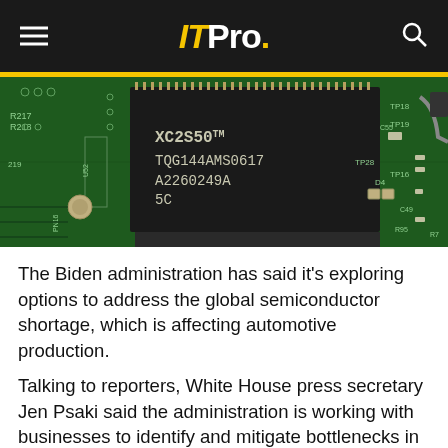IT Pro.
[Figure (photo): Close-up photograph of a green printed circuit board (PCB) featuring a Xilinx FPGA chip labeled XC2S50TM TQG144AMS0617 A2260249A 5C, surrounded by various electronic components, solder points, and circuit traces.]
The Biden administration has said it's exploring options to address the global semiconductor shortage, which is affecting automotive production.
Talking to reporters, White House press secretary Jen Psaki said the administration is working with businesses to identify and mitigate bottlenecks in semiconductor supply. President Biden will also sign an executive order to begin a 100-day review by the National Economic Council and National Security